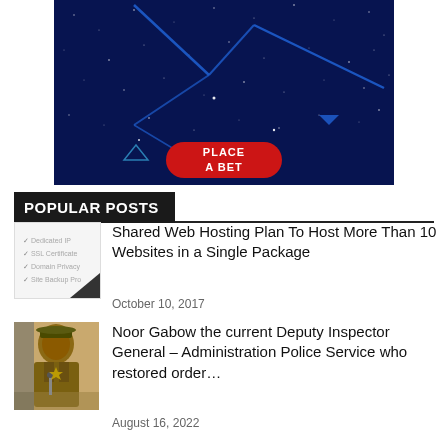[Figure (illustration): Dark navy blue banner with star field and geometric blue lines/shapes, with a red oval 'PLACE A BET' button in the center bottom area]
POPULAR POSTS
[Figure (photo): Thumbnail image showing hosting plan features checklist with dark corner element]
Shared Web Hosting Plan To Host More Than 10 Websites in a Single Package
October 10, 2017
[Figure (photo): Photo of Noor Gabow in military/police uniform speaking at a podium]
Noor Gabow the current Deputy Inspector General – Administration Police Service who restored order…
August 16, 2022